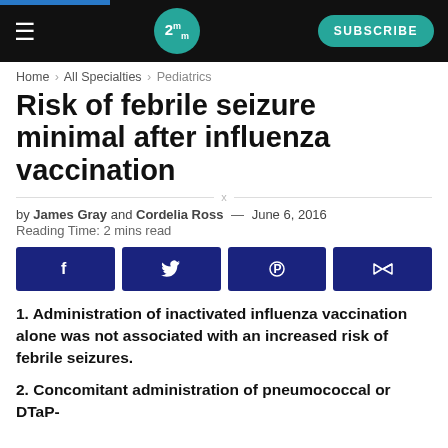2mm | SUBSCRIBE
Home > All Specialties > Pediatrics
Risk of febrile seizure minimal after influenza vaccination
by James Gray and Cordelia Ross — June 6, 2016
Reading Time: 2 mins read
[Figure (infographic): Social share buttons: Facebook, Twitter, Pinterest, Share]
1. Administration of inactivated influenza vaccination alone was not associated with an increased risk of febrile seizures.
2. Concomitant administration of pneumococcal or DTaP-